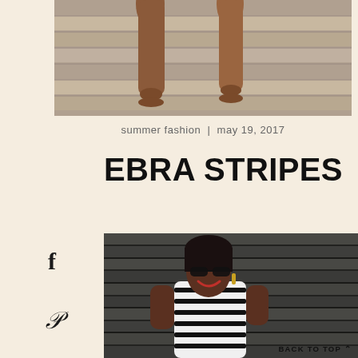[Figure (photo): Cropped photo showing legs of a person on stone steps, warm tones]
summer fashion | may 19, 2017
EBRA STRIPES
[Figure (photo): Photo of a smiling woman wearing sunglasses and a zebra-stripe top, standing in front of stone steps]
BACK TO TOP ^